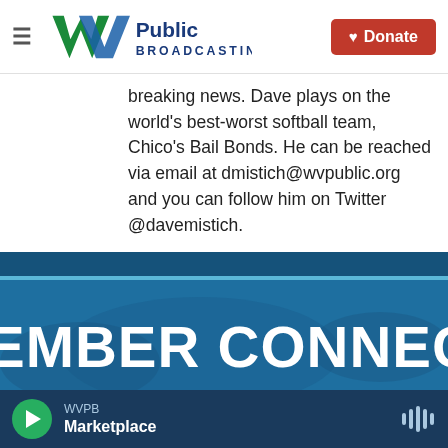WV Public Broadcasting — Donate
breaking news. Dave plays on the world's best-worst softball team, Chico's Bail Bonds. He can be reached via email at dmistich@wvpublic.org and you can follow him on Twitter @davemistich.
See stories by Dave Mistich
[Figure (infographic): MEMBER CONNECT banner with dark blue background]
WVPB Marketplace — audio player bar